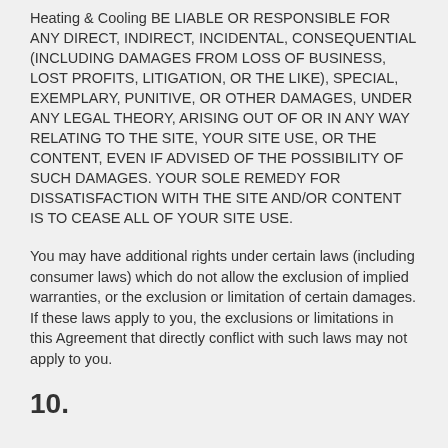Heating & Cooling BE LIABLE OR RESPONSIBLE FOR ANY DIRECT, INDIRECT, INCIDENTAL, CONSEQUENTIAL (INCLUDING DAMAGES FROM LOSS OF BUSINESS, LOST PROFITS, LITIGATION, OR THE LIKE), SPECIAL, EXEMPLARY, PUNITIVE, OR OTHER DAMAGES, UNDER ANY LEGAL THEORY, ARISING OUT OF OR IN ANY WAY RELATING TO THE SITE, YOUR SITE USE, OR THE CONTENT, EVEN IF ADVISED OF THE POSSIBILITY OF SUCH DAMAGES. YOUR SOLE REMEDY FOR DISSATISFACTION WITH THE SITE AND/OR CONTENT IS TO CEASE ALL OF YOUR SITE USE.
You may have additional rights under certain laws (including consumer laws) which do not allow the exclusion of implied warranties, or the exclusion or limitation of certain damages. If these laws apply to you, the exclusions or limitations in this Agreement that directly conflict with such laws may not apply to you.
10.